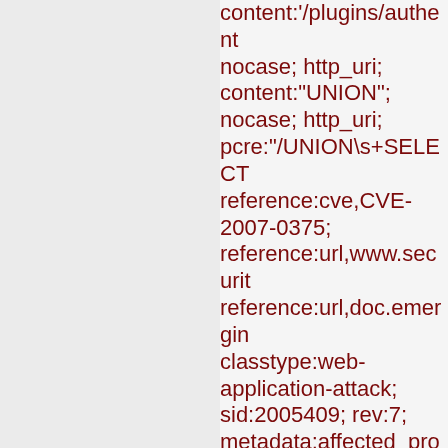content:'/plugins/authentic'; nocase; http_uri; content:'UNION'; nocase; http_uri; pcre:'/UNION\s+SELECT reference:cve,CVE-2007-0375; reference:url,www.securit reference:url,doc.emergin classtype:web-application-attack; sid:2005409; rev:7; metadata:affected_produc Web_Server_Applications, attack_target Web_Server, deployment Datacenter, tag SQL_Injection, signature_severity Major, created_at 2010_07_30, updated_at 2016_07_01;)